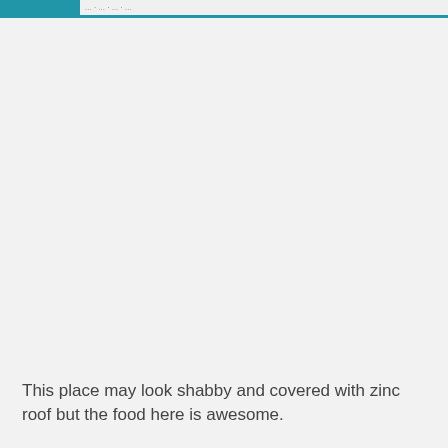This place may look shabby and covered with zinc roof but the food here is awesome.